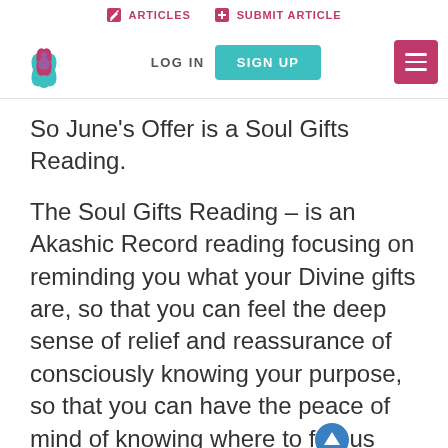ARTICLES  SUBMIT ARTICLE  LOG IN  SIGN UP
So June's Offer is a Soul Gifts Reading.
The Soul Gifts Reading – is an Akashic Record reading focusing on reminding you what your Divine gifts are, so that you can feel the deep sense of relief and reassurance of consciously knowing your purpose, so that you can have the peace of mind of knowing where to focus your actions, choices and life. Where you'll get to feel the deep inner sense of fulfilment and knowledge that